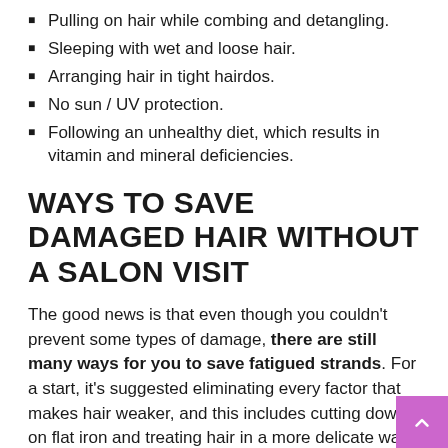Pulling on hair while combing and detangling.
Sleeping with wet and loose hair.
Arranging hair in tight hairdos.
No sun / UV protection.
Following an unhealthy diet, which results in vitamin and mineral deficiencies.
WAYS TO SAVE DAMAGED HAIR WITHOUT A SALON VISIT
The good news is that even though you couldn't prevent some types of damage, there are still many ways for you to save fatigued strands. For a start, it's suggested eliminating every factor that makes hair weaker, and this includes cutting down on flat iron and treating hair in a more delicate way. Naturally, using the right hair products, retaining moisture in hair (not only with cosmetics but also by drinking plenty of water) and sun protection are other essential issues. Once you start paying attention to your hair's needs, meaning when you